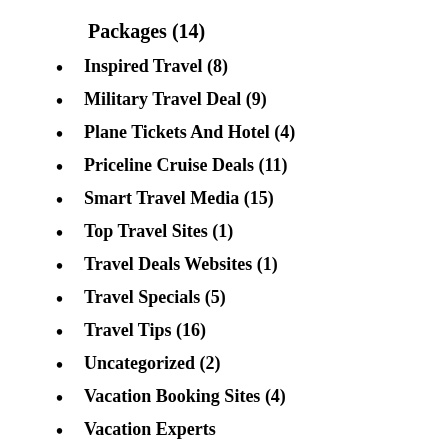Packages (14)
Inspired Travel (8)
Military Travel Deal (9)
Plane Tickets And Hotel (4)
Priceline Cruise Deals (11)
Smart Travel Media (15)
Top Travel Sites (1)
Travel Deals Websites (1)
Travel Specials (5)
Travel Tips (16)
Uncategorized (2)
Vacation Booking Sites (4)
Vacation Experts